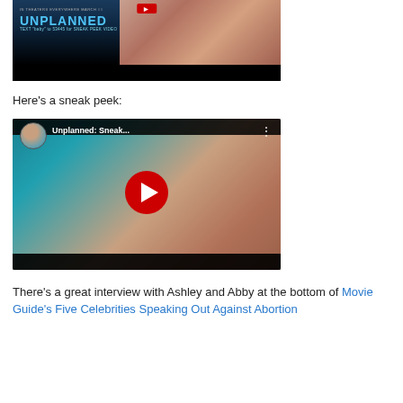[Figure (screenshot): Movie banner for 'Unplanned' film showing a woman's face with teal text logo and red button, with a black bar below]
Here's a sneak peek:
[Figure (screenshot): YouTube video thumbnail for 'Unplanned: Sneak...' showing a woman's face with play button, YouTube-style interface with avatar, title, and three-dot menu]
There's a great interview with Ashley and Abby at the bottom of Movie Guide's Five Celebrities Speaking Out Against Abortion